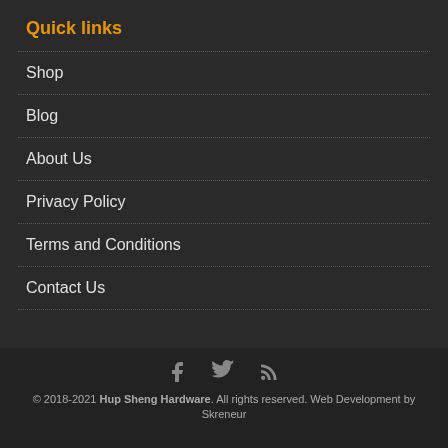Quick links
Shop
Blog
About Us
Privacy Policy
Terms and Conditions
Contact Us
[Figure (illustration): Social media icons: Facebook (f), Twitter (bird), RSS feed]
© 2018-2021 Hup Sheng Hardware. All rights reserved. Web Development by Skreneur